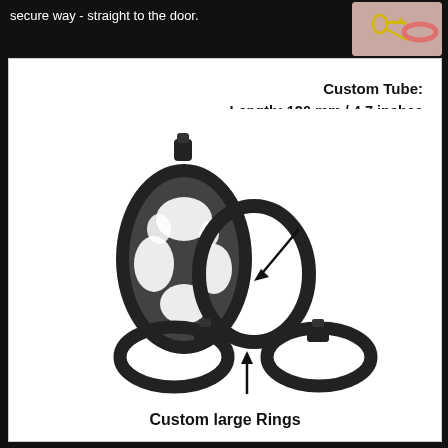secure way - straight to the door.
[Figure (photo): Small thumbnail image of keys and a pink ring on black background in top right corner]
[Figure (photo): Product photo of a black chastity device with cage tube and multiple rings on white background, with annotation arrows pointing to custom tube and custom large rings]
Custom Tube:
Length: 120 mm / 4.7 inches
Width: 45mm / 1.77 inches
Custom large Rings